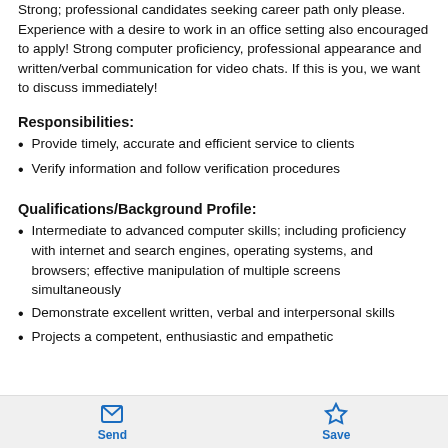Strong; professional candidates seeking career path only please. Experience with a desire to work in an office setting also encouraged to apply! Strong computer proficiency, professional appearance and written/verbal communication for video chats. If this is you, we want to discuss immediately!
Responsibilities:
Provide timely, accurate and efficient service to clients
Verify information and follow verification procedures
Qualifications/Background Profile:
Intermediate to advanced computer skills; including proficiency with internet and search engines, operating systems, and browsers; effective manipulation of multiple screens simultaneously
Demonstrate excellent written, verbal and interpersonal skills
Projects a competent, enthusiastic and empathetic
Send  Save